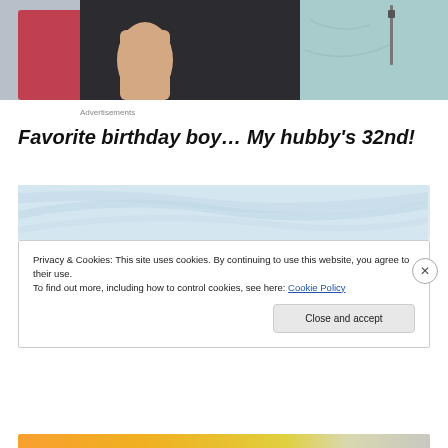[Figure (photo): Partial photo of children/people sitting together, showing clothing in red, dark gray/black pants, and light blue/mint green jacket]
Advertisements
Favorite birthday boy… My hubby's 32nd!
[Figure (photo): Partial image with light blue/pastel diagonal pattern background]
Privacy & Cookies: This site uses cookies. By continuing to use this website, you agree to their use.
To find out more, including how to control cookies, see here: Cookie Policy
Close and accept